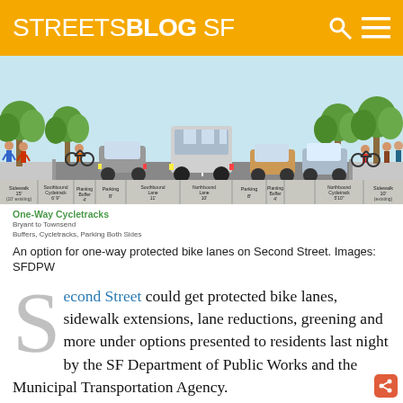STREETSBLOG SF
[Figure (illustration): Cross-section diagram of Second Street showing one-way cycletracks option with labels: Sidewalk 15' (10' existing), Southbound Cycletrack 6'9", Planting Buffer 4', Parking 8', Southbound Lane 11', Northbound Lane 10', Parking 8', Planting Buffer 4', Northbound Cycletrack 5'10", Sidewalk 10' (existing). Shows cyclists, pedestrians, parked cars, bus, and trees.]
One-Way Cycletracks
Bryant to Townsend
Buffers, Cycletracks, Parking Both Sides

An option for one-way protected bike lanes on Second Street. Images: SFDPW
Second Street could get protected bike lanes, sidewalk extensions, lane reductions, greening and more under options presented to residents last night by the SF Department of Public Works and the Municipal Transportation Agency.
Of the four options presented, one would include one-